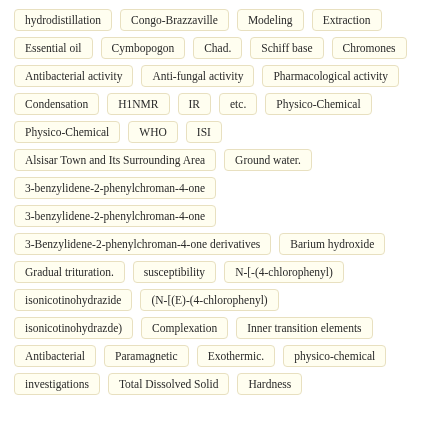hydrodistillation
Congo-Brazzaville
Modeling
Extraction
Essential oil
Cymbopogon
Chad.
Schiff base
Chromones
Antibacterial activity
Anti-fungal activity
Pharmacological activity
Condensation
H1NMR
IR
etc.
Physico-Chemical
Physico-Chemical
WHO
ISI
Alsisar Town and Its Surrounding Area
Ground water.
3-benzylidene-2-phenylchroman-4-one
3-benzylidene-2-phenylchroman-4-one
3-Benzylidene-2-phenylchroman-4-one derivatives
Barium hydroxide
Gradual trituration.
susceptibility
N-[-(4-chlorophenyl)
isonicotinohydrazide
(N-[(E)-(4-chlorophenyl)
isonicotinohydrazde)
Complexation
Inner transition elements
Antibacterial
Paramagnetic
Exothermic.
physico-chemical
investigations
Total Dissolved Solid
Hardness